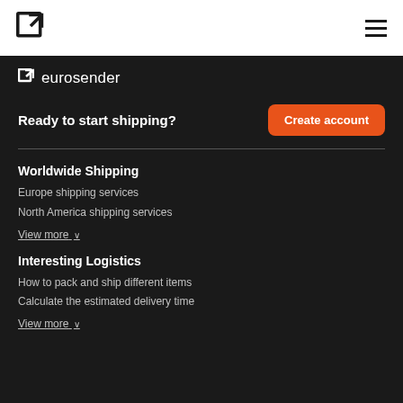[Figure (logo): Eurosender external link icon logo in top white bar]
[Figure (logo): Hamburger menu icon in top white bar]
[Figure (logo): Eurosender icon logo in dark bar]
eurosender
Ready to start shipping?
Create account
Worldwide Shipping
Europe shipping services
North America shipping services
View more ∨
Interesting Logistics
How to pack and ship different items
Calculate the estimated delivery time
View more ∨